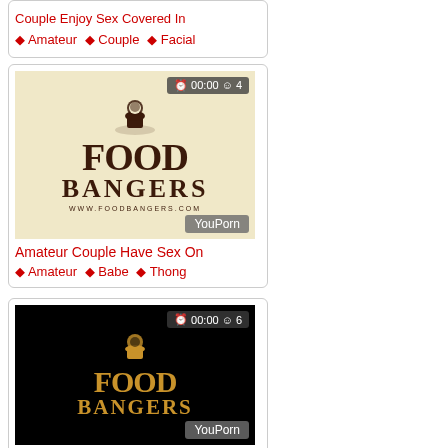Couple Enjoy Sex Covered In
♦ Amateur ♦ Couple ♦ Facial
[Figure (screenshot): Food Bangers logo on light background with clock overlay showing 00:00 and view count 4, YouPorn badge at bottom right]
Amateur Couple Have Sex On
♦ Amateur ♦ Babe ♦ Thong
[Figure (screenshot): Food Bangers logo on black background with clock overlay showing 00:00 and view count 6, YouPorn badge at bottom right]
Lesbians Lick Cream Covered